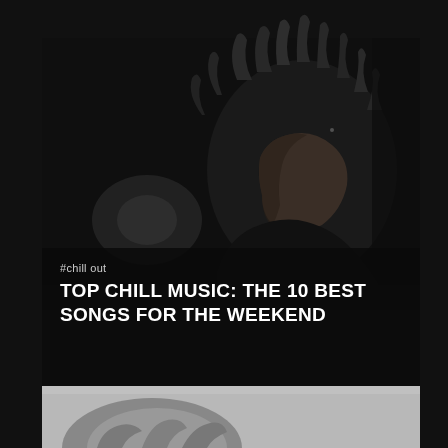[Figure (photo): Black and white photo of a person with dreadlocks looking down, dimly lit against a dark background]
#chill out
TOP CHILL MUSIC: THE 10 BEST SONGS FOR THE WEEKEND
[Figure (photo): Bottom portion of a person's head/hair visible at the very bottom of the page, lighter toned]